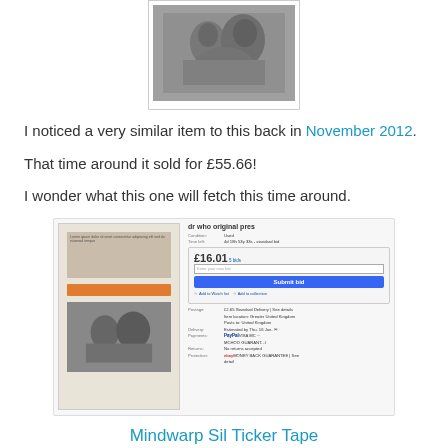[Figure (photo): Black and white photograph of people, shown inside a bordered frame/mount]
I noticed a very similar item to this back in November 2012.
That time around it sold for £55.66!
I wonder what this one will fetch this time around.
[Figure (screenshot): eBay listing screenshot showing a Dr Who original press item with a bid of £16.01 and 5 bids, with submission form and delivery details]
Mindwarp Sil Ticker Tape